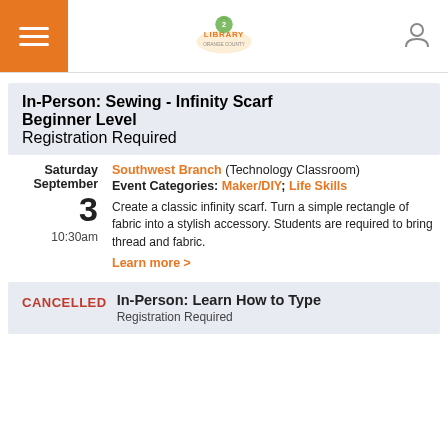Orange County Library System - Header navigation
In-Person: Sewing - Infinity Scarf
Beginner Level
Registration Required
Saturday September 3 10:30am
Southwest Branch (Technology Classroom) Event Categories: Maker/DIY; Life Skills
Create a classic infinity scarf. Turn a simple rectangle of fabric into a stylish accessory. Students are required to bring thread and fabric. Learn more >
CANCELLED In-Person: Learn How to Type
Registration Required